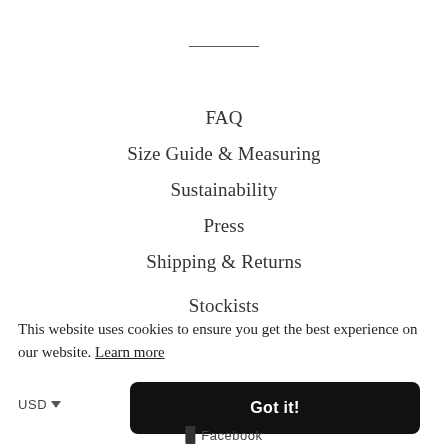FAQ
Size Guide & Measuring
Sustainability
Press
Shipping & Returns
Stockists
This website uses cookies to ensure you get the best experience on our website. Learn more
Got it!
USD
Facebook